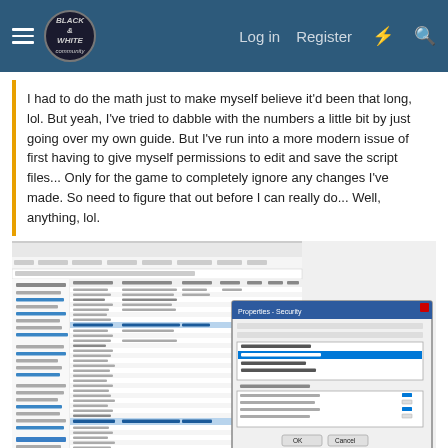Black & White Community — Log in | Register
I had to do the math just to make myself believe it'd been that long, lol. But yeah, I've tried to dabble with the numbers a little bit by just going over my own guide. But I've run into a more modern issue of first having to give myself permissions to edit and save the script files... Only for the game to completely ignore any changes I've made. So need to figure that out before I can really do... Well, anything, lol.
[Figure (screenshot): Screenshot of Windows file explorer with a properties/security dialog box open, showing file permissions settings with a user highlighted.]
i had to right click the document - properties - security - select the users (highlighted) and give full control
darkstar48507
New member